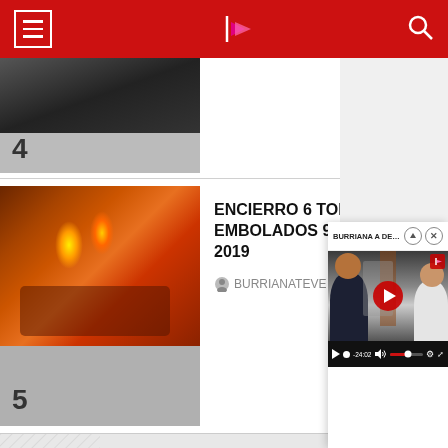Navigation bar with hamburger menu, logo, and search icon
[Figure (screenshot): Thumbnail image for list item 4 - partially visible dark image with number 4]
[Figure (screenshot): Thumbnail image for list item 5 - orange/fire tones image]
ENCIERRO 6 TOROS EMBOLADOS 9 SEP 2019
BURRIANATEVE  5.4K views
BURRIANA A DEBAT 148 part...
[Figure (screenshot): Video player showing two men in a discussion, with red play button overlay, video controls showing -24:02 timestamp]